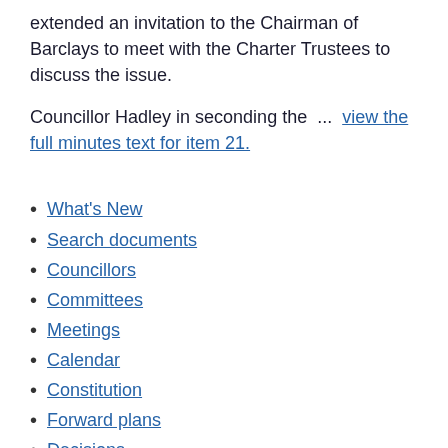extended an invitation to the Chairman of Barclays to meet with the Charter Trustees to discuss the issue.
Councillor Hadley in seconding the  ...  view the full minutes text for item 21.
What's New
Search documents
Councillors
Committees
Meetings
Calendar
Constitution
Forward plans
Decisions
Forthcoming Decisions
Petitions